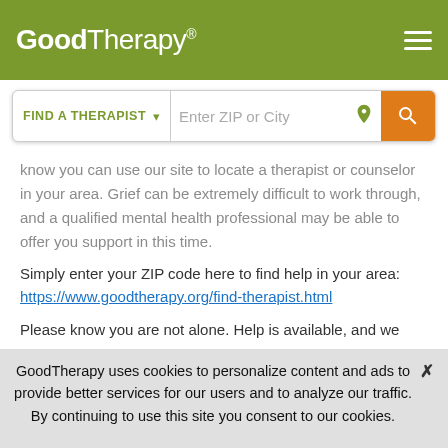GoodTherapy®
know you can use our site to locate a therapist or counselor in your area. Grief can be extremely difficult to work through, and a qualified mental health professional may be able to offer you support in this time.
Simply enter your ZIP code here to find help in your area:
https://www.goodtherapy.org/find-therapist.html
Please know you are not alone. Help is available, and we wish you the best of luck in your search.
Warm regards,
GoodTherapy uses cookies to personalize content and ads to provide better services for our users and to analyze our traffic. By continuing to use this site you consent to our cookies.